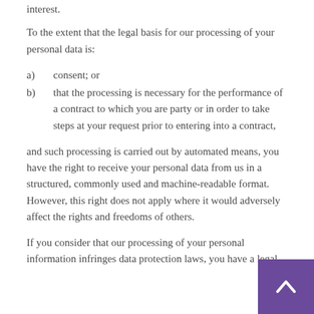interest.
To the extent that the legal basis for our processing of your personal data is:
a)   consent; or
b)   that the processing is necessary for the performance of a contract to which you are party or in order to take steps at your request prior to entering into a contract,
and such processing is carried out by automated means, you have the right to receive your personal data from us in a structured, commonly used and machine-readable format. However, this right does not apply where it would adversely affect the rights and freedoms of others.
If you consider that our processing of your personal information infringes data protection laws, you have a legal